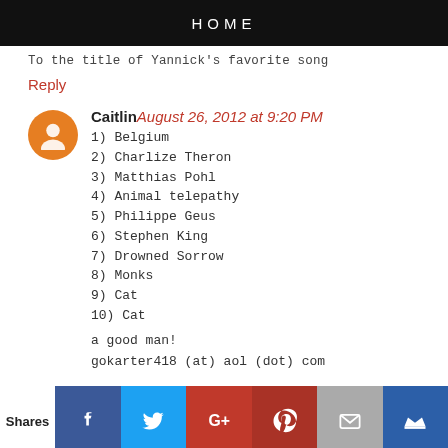HOME
To the title of Yannick's favorite song
Reply
Caitlin August 26, 2012 at 9:20 PM
1) Belgium
2) Charlize Theron
3) Matthias Pohl
4) Animal telepathy
5) Philippe Geus
6) Stephen King
7) Drowned Sorrow
8) Monks
9) Cat
10) Cat
a good man!
gokarter418 (at) aol (dot) com